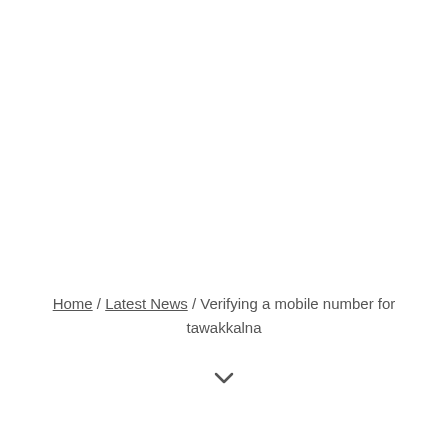Home / Latest News / Verifying a mobile number for tawakkalna